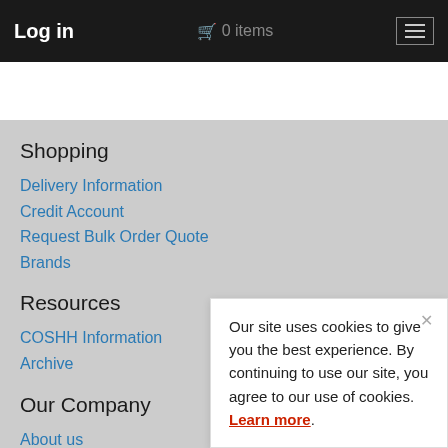Log in  🛒 0 items  ☰
Shopping
Delivery Information
Credit Account
Request Bulk Order Quote
Brands
Resources
COSHH Information
Archive
Our Company
About us
Our Showroom
Sitemap
Our site uses cookies to give you the best experience. By continuing to use our site, you agree to our use of cookies. Learn more.